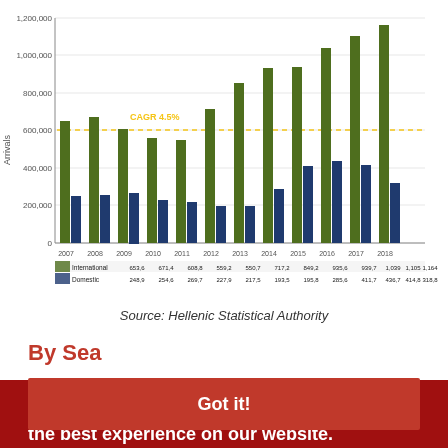[Figure (grouped-bar-chart): Airport arrivals (International and Domestic)]
Source: Hellenic Statistical Authority
By Sea
Chania also accepts thousands of tourists by
This website uses cookies to ensure you get the best experience on our website.
Learn more
Got it!
a large volume of the agricultural production